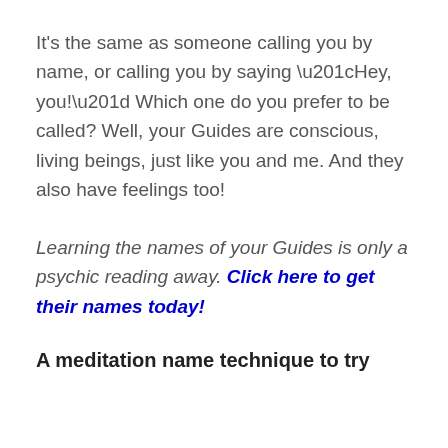It's the same as someone calling you by name, or calling you by saying “Hey, you!” Which one do you prefer to be called? Well, your Guides are conscious, living beings, just like you and me. And they also have feelings too!
Learning the names of your Guides is only a psychic reading away. Click here to get their names today!
A meditation name technique to try